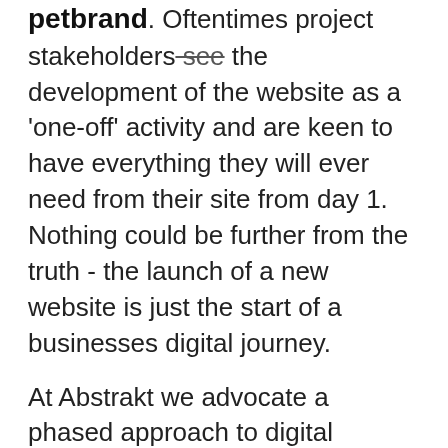petbrand. Oftentimes project stakeholders see the development of the website as a 'one-off' activity and are keen to have everything they will ever need from their site from day 1. Nothing could be further from the truth - the launch of a new website is just the start of a businesses digital journey.
At Abstrakt we advocate a phased approach to digital projects; adaptive planning, evolutionary development, early delivery and continual improvement, and encourage rapid and flexible response to change. Rather than throwing the kitchen sink at the project for initial launch, we encourage our clients to prioritise features and functionality and to create a roadmap of phases, delivered over a period of